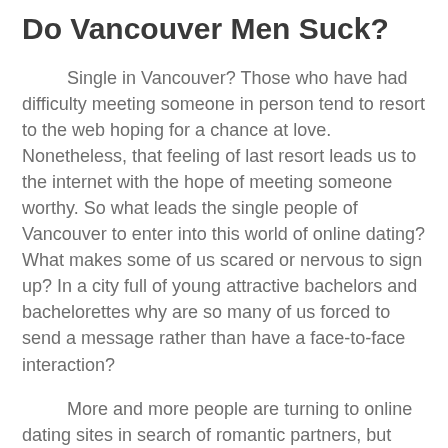Do Vancouver Men Suck?
Single in Vancouver? Those who have had difficulty meeting someone in person tend to resort to the web hoping for a chance at love. Nonetheless, that feeling of last resort leads us to the internet with the hope of meeting someone worthy. So what leads the single people of Vancouver to enter into this world of online dating? What makes some of us scared or nervous to sign up? In a city full of young attractive bachelors and bachelorettes why are so many of us forced to send a message rather than have a face-to-face interaction?
More and more people are turning to online dating sites in search of romantic partners, but with the opportunities that technology provides for people to connect, it also brings potential danger. There is no shortage of stories of bad dates gone wrong, but women in particular are increasingly at risk for sexual